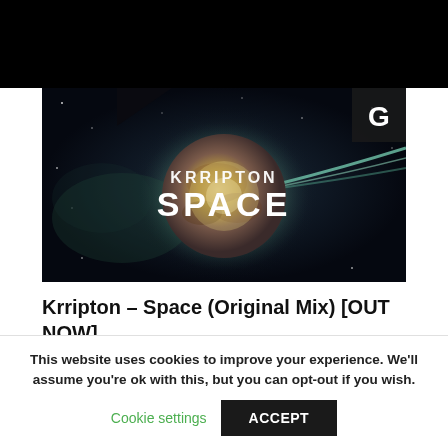[Figure (illustration): Album art for Krripton - Space. Dark space background with a glowing planet/orb emitting light beams. Text reads 'KRRIPTON' and 'SPACE' in white. A 'G' logo appears in the upper right corner.]
Krripton – Space (Original Mix) [OUT NOW]
July 31, 2018   No Comments
This website uses cookies to improve your experience. We'll assume you're ok with this, but you can opt-out if you wish.
Cookie settings   ACCEPT